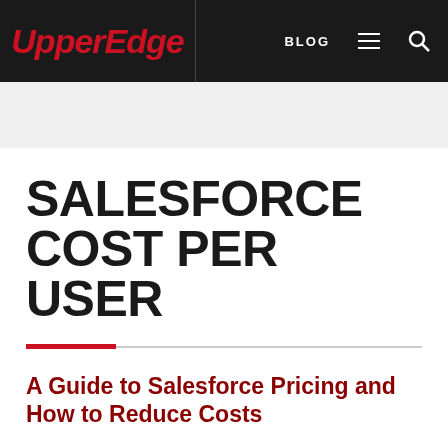UpperEdge | BLOG
SALESFORCE COST PER USER
A Guide to Salesforce Pricing and How to Reduce Costs